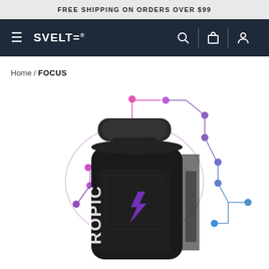FREE SHIPPING ON ORDERS OVER $99
[Figure (logo): SVELTE® brand logo with hamburger menu, search, bag, and account icons on dark navy navigation bar]
Home / FOCUS
[Figure (photo): Dark supplement bottle labeled NOOTROPIC with purple lightning bolt logo on label, surrounded by pink and purple circuit-node decorative graphic lines]